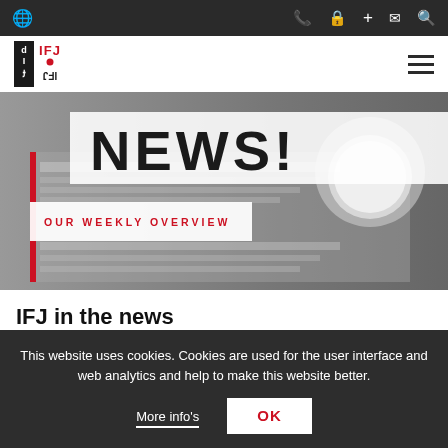IFJ website top navigation bar with globe icon and phone, lock, plus, mail, search icons
[Figure (logo): IFJ logo with hamburger menu]
[Figure (photo): Hero image: newspaper with 'NEWS!' headline text overlay, coffee cup in background, grayscale. Overlay reads 'OUR WEEKLY OVERVIEW' in red uppercase tracking text.]
IFJ in the news
This website uses cookies. Cookies are used for the user interface and web analytics and help to make this website better.